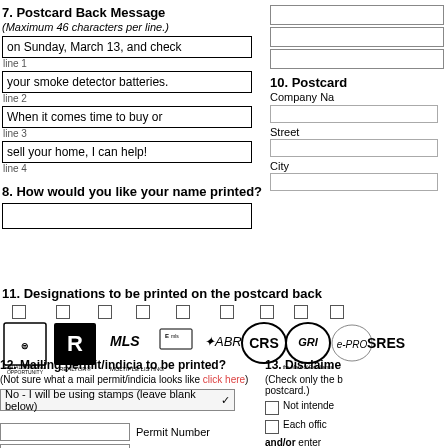7. Postcard Back Message
(Maximum 46 characters per line.)
on Sunday, March 13, and check
line 1
your smoke detector batteries.
line 2
When it comes time to buy or
line 3
sell your home, I can help!
line 4
8. How would you like your name printed?
10. Postcard
Company Na
Street
City
11. Designations to be printed on the postcard back
[Figure (logo): Logos: Equal Housing Opportunity, REALTOR, MLS, E-MLS, ABR, CRS, GRI, e-PRO, SRES with checkboxes]
12. Mailing permit/indicia to be printed?
(Not sure what a mail permit/indicia looks like click here)
No - I will be using stamps (leave blank below)
Permit Number
Permit Location
13. Disclaime
(Check only the b postcard.)
Not intende
Each offic
and/or enter